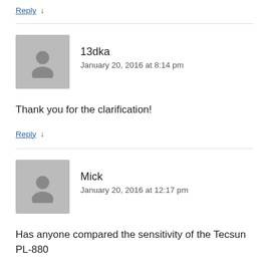Reply ↓
13dka
January 20, 2016 at 8:14 pm
Thank you for the clarification!
Reply ↓
Mick
January 20, 2016 at 12:17 pm
Has anyone compared the sensitivity of the Tecsun PL-880